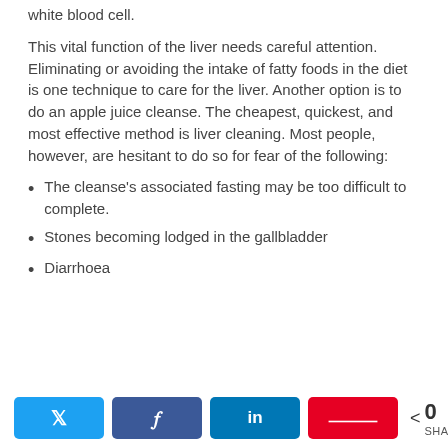white blood cell.
This vital function of the liver needs careful attention. Eliminating or avoiding the intake of fatty foods in the diet is one technique to care for the liver. Another option is to do an apple juice cleanse. The cheapest, quickest, and most effective method is liver cleaning. Most people, however, are hesitant to do so for fear of the following:
The cleanse's associated fasting may be too difficult to complete.
Stones becoming lodged in the gallbladder
Diarrhoea